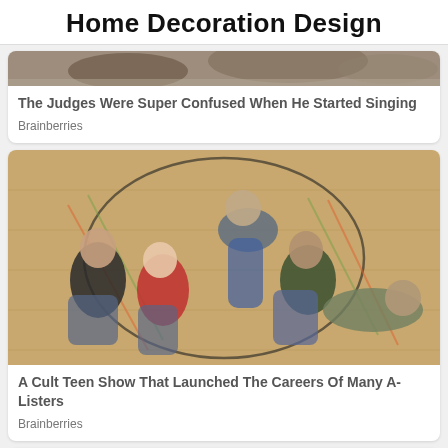Home Decoration Design
The Judges Were Super Confused When He Started Singing
Brainberries
[Figure (photo): Group of five young people lying and sitting on a gymnasium floor in a circular arrangement, promotional image for a teen TV show]
A Cult Teen Show That Launched The Careers Of Many A-Listers
Brainberries
[Figure (photo): Partial view of another article image at the bottom of the page]